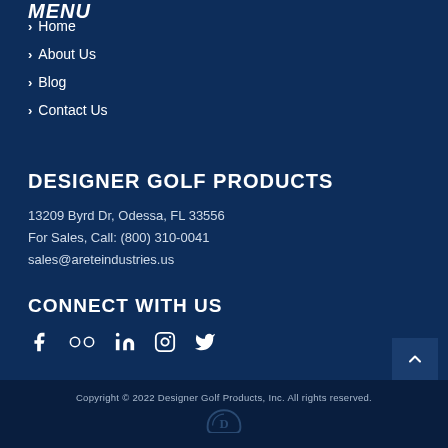MENU
Home
About Us
Blog
Contact Us
DESIGNER GOLF PRODUCTS
13209 Byrd Dr, Odessa, FL 33556
For Sales, Call: (800) 310-0041
sales@areteindustries.us
CONNECT WITH US
[Figure (infographic): Social media icons: Facebook, Flickr, LinkedIn, Instagram, Twitter]
Copyright © 2022 Designer Golf Products, Inc. All rights reserved.